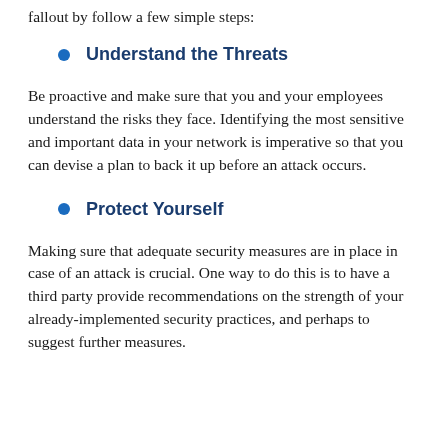fallout by follow a few simple steps:
Understand the Threats
Be proactive and make sure that you and your employees understand the risks they face. Identifying the most sensitive and important data in your network is imperative so that you can devise a plan to back it up before an attack occurs.
Protect Yourself
Making sure that adequate security measures are in place in case of an attack is crucial. One way to do this is to have a third party provide recommendations on the strength of your already-implemented security practices, and perhaps to suggest further measures.